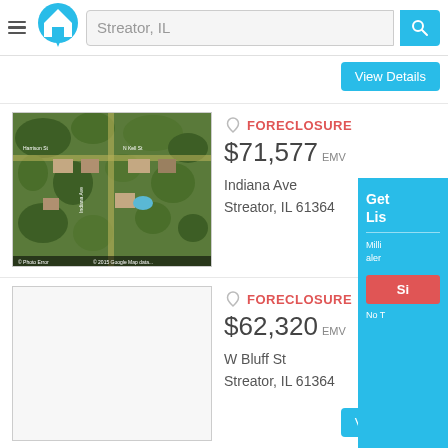[Figure (screenshot): Real estate website header with hamburger menu, home pin logo, search bar showing 'Streator, IL', and blue search button]
View Details
[Figure (photo): Aerial satellite view of a neighborhood with trees and houses]
FORECLOSURE
$71,577 EMV
Indiana Ave
Streator, IL 61364
View Det
[Figure (photo): Blank white property image placeholder]
FORECLOSURE
$62,320 EMV
W Bluff St
Streator, IL 61364
View Details
[Figure (infographic): Blue overlay panel partially visible on right side showing 'Get Lis...' text, 'Milli... aler...' subtext, red Sign Up button, and 'No T...' text]